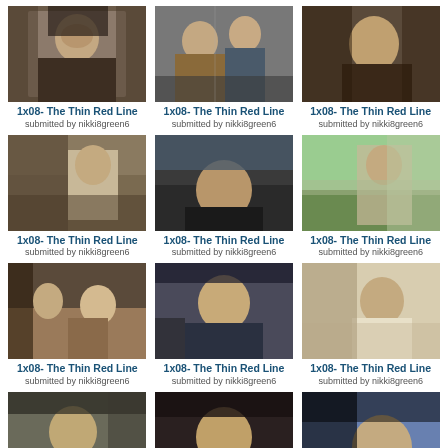[Figure (photo): TV show screenshot - woman with dark hair]
1x08- The Thin Red Line
submitted by nikki8green6
[Figure (photo): TV show screenshot - two men, one in overalls]
1x08- The Thin Red Line
submitted by nikki8green6
[Figure (photo): TV show screenshot - man looking serious]
1x08- The Thin Red Line
submitted by nikki8green6
[Figure (photo): TV show screenshot - man in living room with painting]
1x08- The Thin Red Line
submitted by nikki8green6
[Figure (photo): TV show screenshot - man in dark portrait]
1x08- The Thin Red Line
submitted by nikki8green6
[Figure (photo): TV show screenshot - man walking near house exterior]
1x08- The Thin Red Line
submitted by nikki8green6
[Figure (photo): TV show screenshot - group sitting in living room]
1x08- The Thin Red Line
submitted by nikki8green6
[Figure (photo): TV show screenshot - man in suit leaning forward]
1x08- The Thin Red Line
submitted by nikki8green6
[Figure (photo): TV show screenshot - man in profile view]
1x08- The Thin Red Line
submitted by nikki8green6
[Figure (photo): TV show screenshot - man in suit standing]
1x08- The Thin Red Line
submitted by nikki8green6
[Figure (photo): TV show screenshot - young man in black]
1x08- The Thin Red Line
submitted by nikki8green6
[Figure (photo): TV show screenshot - man leaning down in suit]
1x08- The Thin Red Line
submitted by nikki8green6
[Figure (photo): TV show screenshot partial - man at desk]
[Figure (photo): TV show screenshot partial - woman with red hair and man outdoors]
[Figure (photo): TV show screenshot partial - blonde woman]